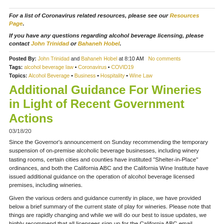For a list of Coronavirus related resources, please see our Resources Page.
If you have any questions regarding alcohol beverage licensing, please contact John Trinidad or Bahaneh Hobel.
Posted By: John Trinidad and Bahaneh Hobel at 8:10 AM  No comments
Tags: alcohol beverage law • Coronavirus • COVID19
Topics: Alcohol Beverage • Business • Hospitality • Wine Law
Additional Guidance For Wineries in Light of Recent Government Actions
03/18/20
Since the Governor's announcement on Sunday recommending the temporary suspension of on-premise alcoholic beverage businesses, including winery tasting rooms, certain cities and counties have instituted “Shelter-in-Place” ordinances, and both the California ABC and the California Wine Institute have issued additional guidance on the operation of alcohol beverage licensed premises, including wineries.
Given the various orders and guidance currently in place, we have provided below a brief summary of the current state of play for wineries. Please note that things are rapidly changing and while we will do our best to issue updates, we highly recommend that all licensees sign up for the California ABC email updates, and also keep an eye on orders from their local governments.
GOVERNOR'S DIRECTIVE – Statewide Recommendation